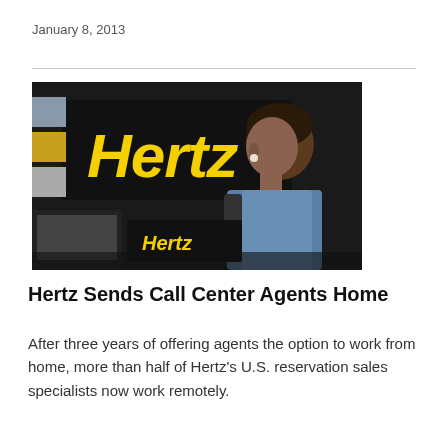January 8, 2013
[Figure (photo): A woman in a blue shirt smiling and looking down at a computer terminal in front of a Hertz branded sign with yellow logo on black background. A smaller Hertz branded monitor is visible in the foreground.]
Hertz Sends Call Center Agents Home
After three years of offering agents the option to work from home, more than half of Hertz's U.S. reservation sales specialists now work remotely.